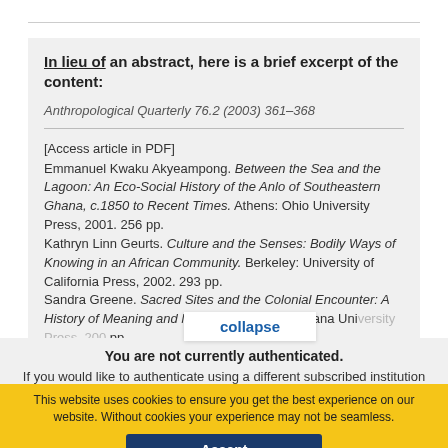In lieu of an abstract, here is a brief excerpt of the content:
Anthropological Quarterly 76.2 (2003) 361-368
[Access article in PDF]
Emmanuel Kwaku Akyeampong. Between the Sea and the Lagoon: An Eco-Social History of the Anlo of Southeastern Ghana, c.1850 to Recent Times. Athens: Ohio University Press, 2001. 256 pp.
Kathryn Linn Geurts. Culture and the Senses: Bodily Ways of Knowing in an African Community. Berkeley: University of California Press, 2002. 293 pp.
Sandra Greene. Sacred Sites and the Colonial Encounter: A History of Meaning and Memory in Ghana. Indiana Uni... pp.
collapse
You are not currently authenticated.
If you would like to authenticate using a different subscribed institution or
This website uses cookies to ensure you get the best experience on our website. Without cookies your experience may not be seamless.
Accept